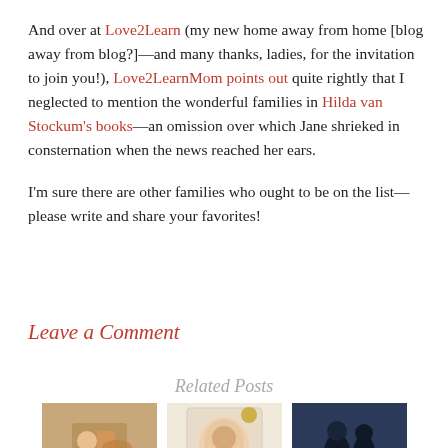And over at Love2Learn (my new home away from home [blog away from blog?]—and many thanks, ladies, for the invitation to join you!), Love2LearnMom points out quite rightly that I neglected to mention the wonderful families in Hilda van Stockum's books—an omission over which Jane shrieked in consternation when the news reached her ears.
I'm sure there are other families who ought to be on the list—please write and share your favorites!
Leave a Comment
Related Posts
[Figure (photo): Thumbnail image 1 - craft or toy photo with warm tones]
[Figure (photo): Thumbnail image 2 - book cover for The Three Pigs]
[Figure (photo): Thumbnail image 3 - silhouettes of two people against blue background]